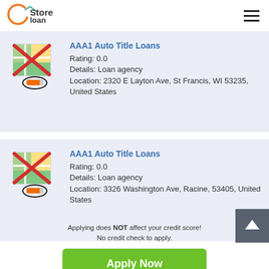[Figure (logo): Store loan logo with orange circle C and teal checkmark, text 'Store loan']
[Figure (illustration): Map icon with red X overlay and pencil/marker icon below]
AAA1 Auto Title Loans
Rating: 0.0
Details: Loan agency
Location: 2320 E Layton Ave, St Francis, WI 53235, United States
[Figure (illustration): Map icon with red X overlay and pencil/marker icon below]
AAA1 Auto Title Loans
Rating: 0.0
Details: Loan agency
Location: 3326 Washington Ave, Racine, 53405, United States
[Figure (illustration): Scroll to top button: dark gray square with white up arrow]
Apply Now
Applying does NOT affect your credit score!
No credit check to apply.